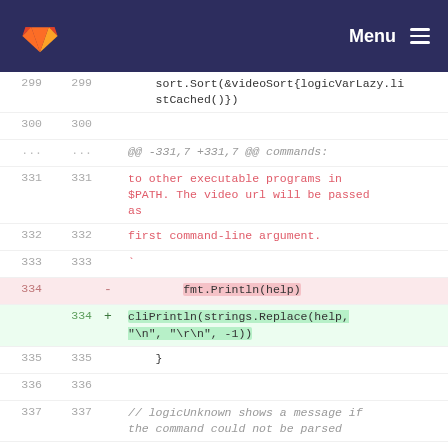GitLab Menu
299 299    sort.Sort(&videoSort{logicVarLazy.listCached()})
300 300
... ...    @@ -331,7 +331,7 @@ commands:
331 331    to other executable programs in $PATH. The video url will be passed as
332 332    first command-line argument.
333 333    `
334  -     fmt.Println(help)
334 +  cliPrintln(strings.Replace(help, "\n", "\r\n", -1))
335 335    }
336 336
337 337    // logicUnknown shows a message if the command could not be parsed
... ...